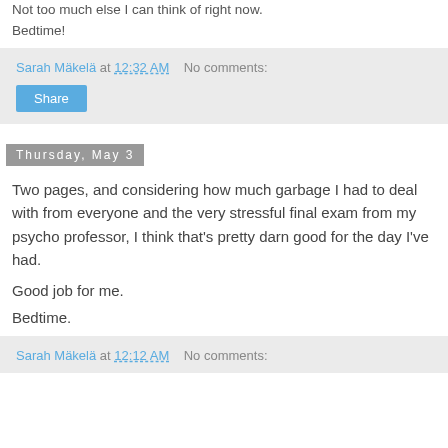Not too much else I can think of right now.
Bedtime!
Sarah Mäkelä at 12:32 AM   No comments:
Share
Thursday, May 3
Two pages, and considering how much garbage I had to deal with from everyone and the very stressful final exam from my psycho professor, I think that's pretty darn good for the day I've had.

Good job for me.

Bedtime.
Sarah Mäkelä at 12:12 AM   No comments: